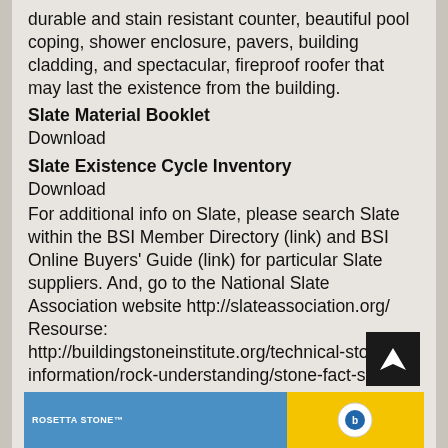durable and stain resistant counter, beautiful pool coping, shower enclosure, pavers, building cladding, and spectacular, fireproof roofer that may last the existence from the building.
Slate Material Booklet
Download
Slate Existence Cycle Inventory
Download
For additional info on Slate, please search Slate within the BSI Member Directory (link) and BSI Online Buyers' Guide (link) for particular Slate suppliers. And, go to the National Slate Association website http://slateassociation.org/
Resourse:
http://buildingstoneinstitute.org/technical-stone-information/rock-understanding/stone-fact-sheets/
[Figure (other): Banner strip at the bottom showing Rosetta Stone logo on blue background and a yellow section with a circular logo]